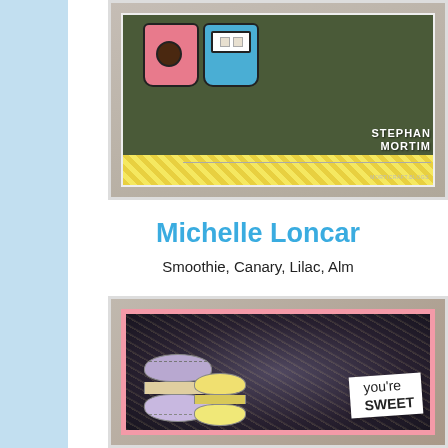[Figure (photo): Craft card featuring two coffee/beverage cups (pink and blue) on a dark green background with yellow diamond pattern, with creator name overlay reading STEPHANIE MORTIM and blog URL morticraft.blogs]
Michelle Loncar
Smoothie, Canary, Lilac, Alm
[Figure (photo): Craft card featuring stacked macarons (purple and yellow) on a dark glittery background in a pink frame, with banner reading 'you're SWEET']